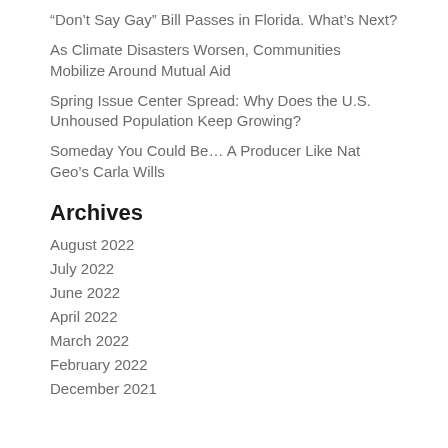“Don’t Say Gay” Bill Passes in Florida. What’s Next?
As Climate Disasters Worsen, Communities Mobilize Around Mutual Aid
Spring Issue Center Spread: Why Does the U.S. Unhoused Population Keep Growing?
Someday You Could Be… A Producer Like Nat Geo’s Carla Wills
Archives
August 2022
July 2022
June 2022
April 2022
March 2022
February 2022
December 2021